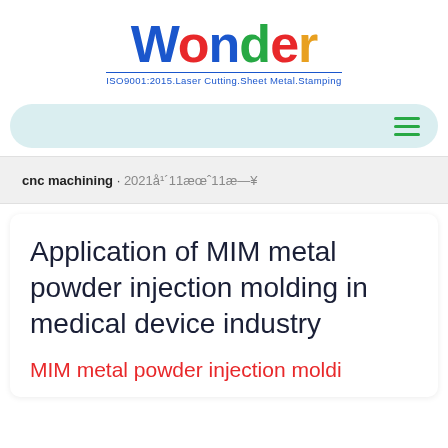[Figure (logo): Wonder company logo with colorful letters W-o-n-d-e-r and tagline 'ISO9001:2015.Laser Cutting.Sheet Metal.Stamping' in blue]
Navigation bar with hamburger menu icon
cnc machining · 2021年11月11日
Application of MIM metal powder injection molding in medical device industry
MIM metal powder injection moldi